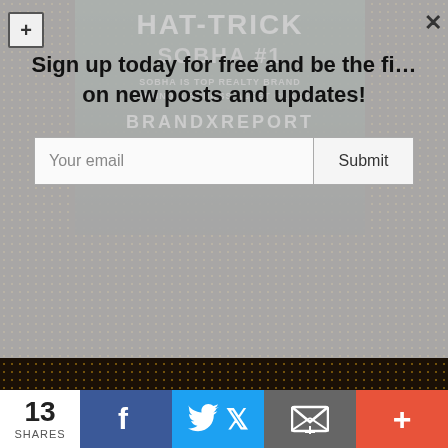[Figure (photo): Background photo of an LED display panel showing 'HAT-TRICK SOBHA #1 SOBHA IS TOP REALTY BRAND PAN-INDIA ACROSS ASSET CLASS BRAND X REPORT 2016-17' with dark background and LED dot grid pattern]
Sign up today for free and be the first to know on new posts and updates!
Your email
Submit
13
SHARES